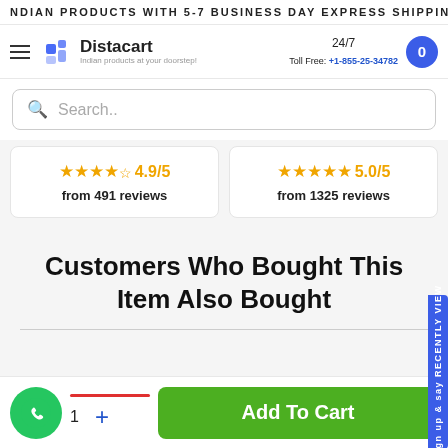INDIAN PRODUCTS WITH 5-7 BUSINESS DAY EXPRESS SHIPPING
[Figure (logo): Distacart logo with tagline 'Indian products at your doorstep!']
24/7 Toll Free: +1-855-25-34782
Search..
★★★★½ 4.9/5 from 491 reviews
★★★★★ 5.0/5 from 1325 reviews
Customers Who Bought This Item Also Bought
1 + Add To Cart